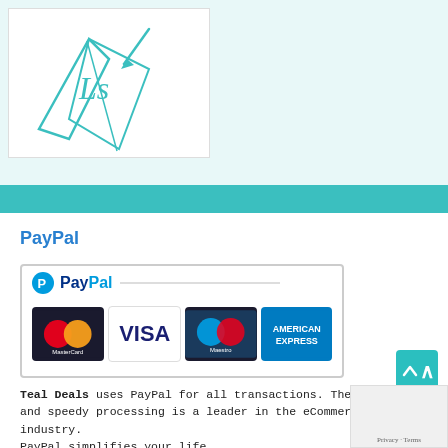[Figure (logo): Teal Deals logo — stylized book/pen illustration in teal on white background, upper left]
PayPal
[Figure (other): PayPal payment widget showing PayPal logo and accepted cards: MasterCard, VISA, Maestro, American Express]
Teal Deals uses PayPal for all transactions. Their secure and speedy processing is a leader in the eCommerce industry.
PayPal simplifies your life.
– Shop & Buy Online
– Send Money Securely
JOIN OVER 300 MILLION PAYPAL USERS!